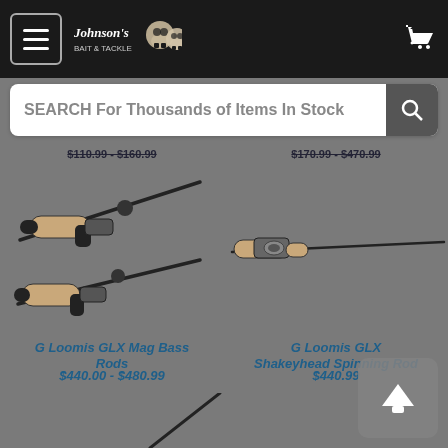Johnson's Bait & Tackle
SEARCH For Thousands of Items In Stock
$110.99 - $160.99 | $170.99 - $470.99
[Figure (photo): G Loomis GLX Mag Bass Rods - two fishing rod handles/grips shown diagonally on grey background]
[Figure (photo): G Loomis GLX Shakeyhead Spinning Rod - fishing rod shown horizontally on grey background]
G Loomis GLX Mag Bass Rods
$440.00 - $480.99
G Loomis GLX Shakeyhead Spinning Rod
$440.99